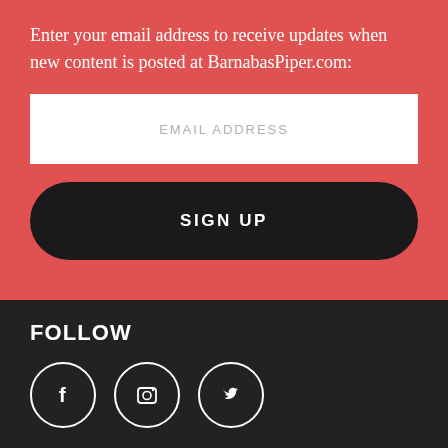Enter your email address to receive updates when new content is posted at BarnabasPiper.com:
[Figure (other): Email address input field with placeholder text 'EMAIL ADDRESS']
[Figure (other): Dark rounded button with text 'SIGN UP']
FOLLOW
[Figure (other): Social media icons: Facebook (f), Instagram (camera), Twitter (bird) in white circle outlines]